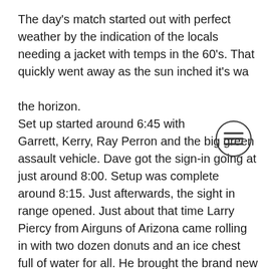The day's match started out with perfect weather by the indication of the locals needing a jacket with temps in the 60's. That quickly went away as the sun inched it's way above the horizon. Set up started around 6:45 with Garrett, Kerry, Ray Perron and the big green assault vehicle. Dave got the sign-in going at just around 8:00. Setup was complete around 8:15. Just afterwards, the sight in range opened. Just about that time Larry Piercy from Airguns of Arizona came rolling in with two dozen donuts and an ice chest full of water for all. He brought the brand new Daystate air compressor to debut. The big news of the day was that Airguns of Arizona was covering everyone's